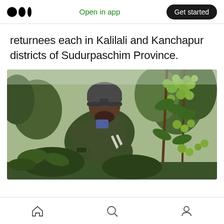Open in app | Get started
returnees each in Kalilali and Kanchapur districts of Sudurpaschim Province.
[Figure (photo): A man wearing a dark green jacket and grey beanie hat bending over to tend tomato plants, in what appears to be a greenhouse with clusters of green tomatoes visible.]
Home | Search | Profile